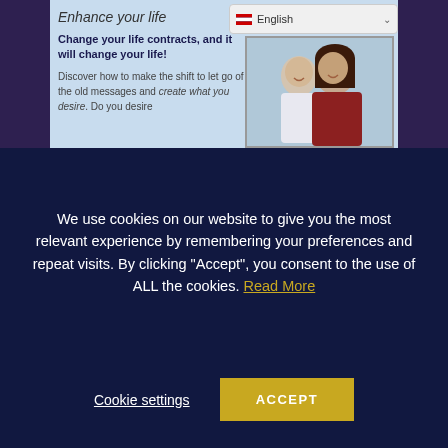Enhance your life
Change your life contracts, and it will change your life!
Discover how to make the shift to let go of the old messages and create what you desire. Do you desire
[Figure (photo): Smiling couple embracing outdoors]
We use cookies on our website to give you the most relevant experience by remembering your preferences and repeat visits. By clicking "Accept", you consent to the use of ALL the cookies. Read More
Cookie settings
ACCEPT